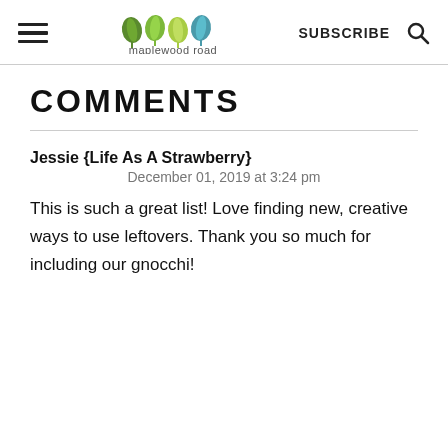maplewood road | SUBSCRIBE
COMMENTS
Jessie {Life As A Strawberry}
December 01, 2019 at 3:24 pm
This is such a great list! Love finding new, creative ways to use leftovers. Thank you so much for including our gnocchi!